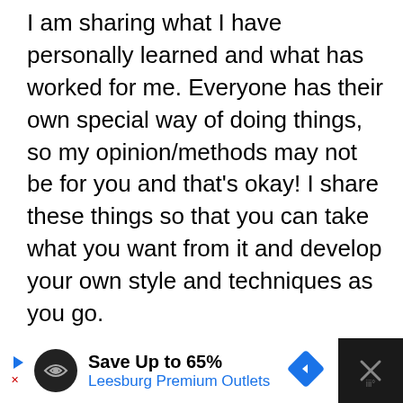I am sharing what I have personally learned and what has worked for me. Everyone has their own special way of doing things, so my opinion/methods may not be for you and that's okay! I share these things so that you can take what you want from it and develop your own style and techniques as you go.
Also, if you aren't familiar with painting with thread, check out my beginner's tutorial first. It goes over products/tools I recommend and basic techniques.
[Figure (other): Advertisement bar at the bottom: black background with white content area showing 'Save Up to 65% Leesburg Premium Outlets' with navigation arrow icons and a close button.]